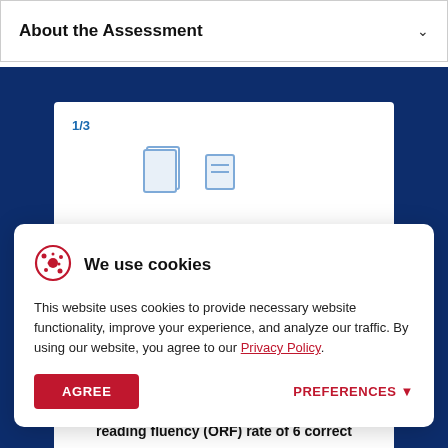About the Assessment
1/3
We use cookies
This website uses cookies to provide necessary website functionality, improve your experience, and analyze our traffic. By using our website, you agree to our Privacy Policy.
AGREE
PREFERENCES ▼
Grade 2 students had an average oral reading fluency (ORF) rate of 6 correct